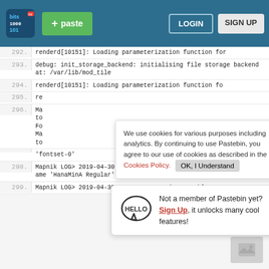[Figure (screenshot): Pastebin website header with logo, green paste button, LOGIN and SIGN UP nav buttons on dark teal background]
292. renderd[10151]: Loading parameterization function for
293. debug: init_storage_backend: initialising file storage backend at: /var/lib/mod_tile
294. renderd[10151]: Loading parameterization function fo
295. re
296. Ma to Fo Ma to
'fontset-0'
298. Mapnik LOG> 2019-04-30 13:47:17: warning: unable to find face-name 'HanaMinA Regular' in FontSet 'fontset-0'
299. Mapnik LOG> 2019-04-30 13:47:17: warning: unable
We use cookies for various purposes including analytics. By continuing to use Pastebin, you agree to our use of cookies as described in the Cookies Policy. OK, I Understand
Not a member of Pastebin yet? Sign Up, it unlocks many cool features!